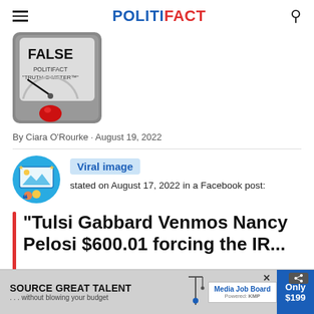POLITIFACT
[Figure (illustration): PolitiFact Truth-O-Meter gauge showing FALSE rating with red indicator light]
By Ciara O'Rourke · August 19, 2022
[Figure (illustration): Viral image source icon - blue circle with social media imagery]
Viral image
stated on August 17, 2022 in a Facebook post:
“Tulsi Gabbard Venmos Nancy Pelosi $600.01 forcing the IRS au...
[Figure (screenshot): Advertisement banner: SOURCE GREAT TALENT ... without blowing your budget | Media Job Board | Only $199]